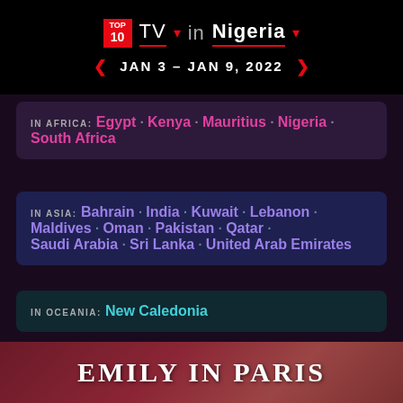TOP 10 TV in Nigeria
JAN 3 - JAN 9, 2022
IN AFRICA: Egypt · Kenya · Mauritius · Nigeria · South Africa
IN ASIA: Bahrain · India · Kuwait · Lebanon · Maldives · Oman · Pakistan · Qatar · Saudi Arabia · Sri Lanka · United Arab Emirates
IN OCEANIA: New Caledonia
EMILY IN PARIS